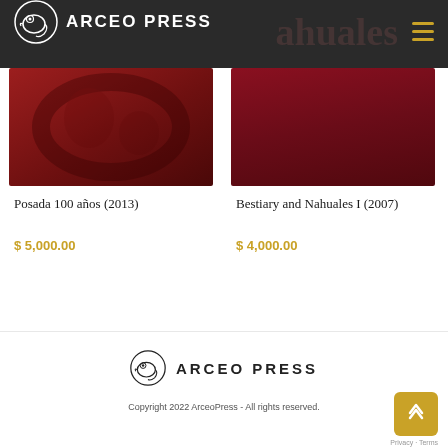ARCEO PRESS
[Figure (photo): Product image for Posada 100 años (2013) — dark red relief artwork]
Posada 100 años (2013)
$ 5,000.00
[Figure (photo): Product image for Bestiary and Nahuales I (2007) — dark red/maroon background]
Bestiary and Nahuales I (2007)
$ 4,000.00
[Figure (logo): Arceo Press footer logo — chameleon/lizard icon with ARCEO PRESS text]
Copyright 2022 ArceoPress - All rights reserved.